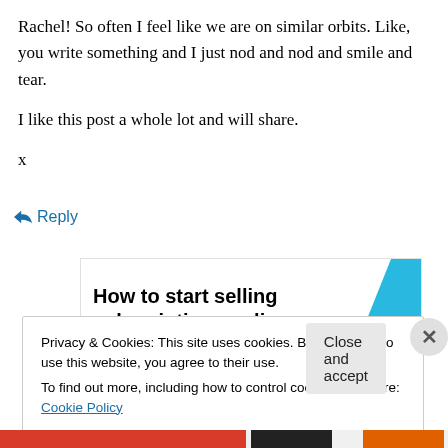Rachel! So often I feel like we are on similar orbits. Like, you write something and I just nod and nod and smile and tear.

I like this post a whole lot and will share.

x
↪ Reply
[Figure (infographic): Advertisement banner reading 'How to start selling subscriptions online' with a blue geometric shape on the right side]
Privacy & Cookies: This site uses cookies. By continuing to use this website, you agree to their use.
To find out more, including how to control cookies, see here: Cookie Policy
Close and accept